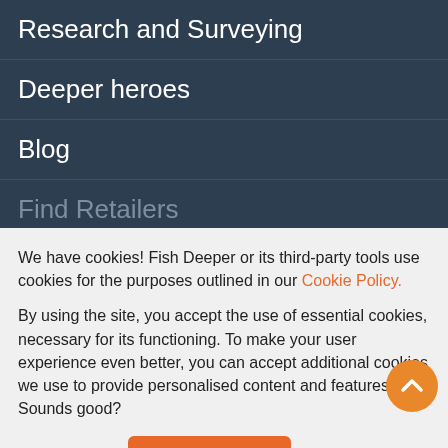Research and Surveying
Deeper heroes
Blog
Find Retailers
We have cookies! Fish Deeper or its third-party tools use cookies for the purposes outlined in our Cookie Policy.
By using the site, you accept the use of essential cookies, necessary for its functioning. To make your user experience even better, you can accept additional cookies we use to provide personalised content and features. Sounds good?
No, thanks | Yes, sure